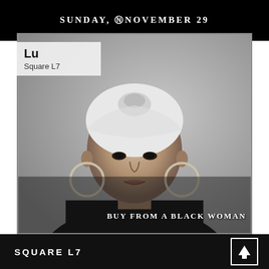SUNDAY, NOVEMBER 29
[Figure (photo): Black and white portrait photo of a woman wearing a white head wrap/turban and large hoop earrings, wearing a black top, looking directly at the camera]
Lu
Square L7
BUY FROM A BLACK WOMAN
SQUARE L7